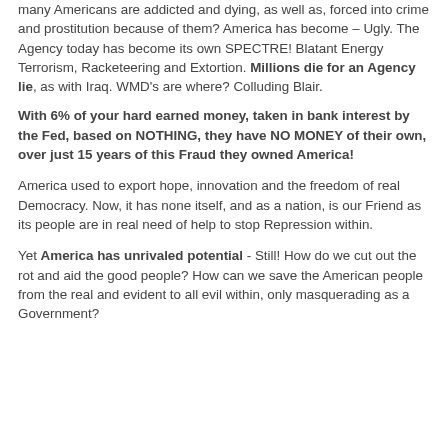many Americans are addicted and dying, as well as, forced into crime and prostitution because of them? America has become – Ugly. The Agency today has become its own SPECTRE! Blatant Energy Terrorism, Racketeering and Extortion. Millions die for an Agency lie, as with Iraq. WMD's are where? Colluding Blair.
With 6% of your hard earned money, taken in bank interest by the Fed, based on NOTHING, they have NO MONEY of their own, over just 15 years of this Fraud they owned America!
America used to export hope, innovation and the freedom of real Democracy. Now, it has none itself, and as a nation, is our Friend as its people are in real need of help to stop Repression within.
Yet America has unrivaled potential - Still! How do we cut out the rot and aid the good people? How can we save the American people from the real and evident to all evil within, only masquerading as a Government?